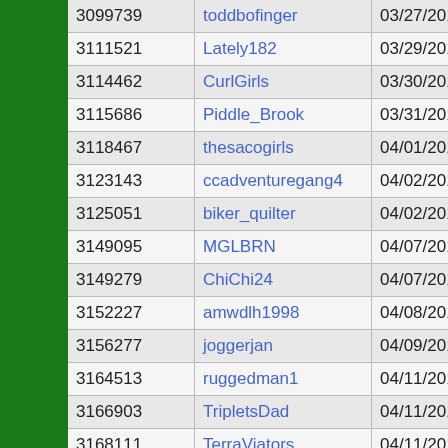| ID | Username | Date | Type |
| --- | --- | --- | --- |
| 3099739 | toddbofinger | 03/27/2010 | Basic |
| 3111521 | Lately182 | 03/29/2010 | Basic |
| 3114462 | CurlGirls | 03/30/2010 | Basic |
| 3115686 | Piddle_Brook | 03/31/2010 | Basic |
| 3118467 | thesacogirls | 04/01/2010 | Basic |
| 3123143 | ccadventuregang4 | 04/02/2010 | Basic |
| 3125051 | biker_quilter | 04/02/2010 | Basic |
| 3149095 | MGLBRN | 04/07/2010 | Basic |
| 3149279 | ChiChi24 | 04/07/2010 | Basic |
| 3152227 | amwdlh1998 | 04/08/2010 | Basic |
| 3156277 | joggerjan | 04/09/2010 | Premium |
| 3164513 | ruggedman1 | 04/11/2010 | Basic |
| 3166903 | TripletsDad | 04/11/2010 | Basic |
| 3168111 | TerraViators | 04/11/2010 | Premium |
| 3174622 | ChelseaRiders | 04/13/2010 | Basic |
| 3179927 | KtaadnXD | 04/15/2010 | Basic |